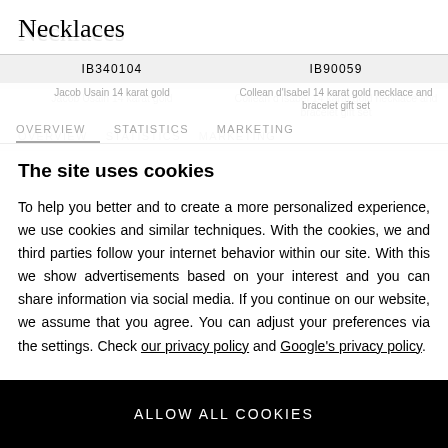Necklaces
IB340104   IB90059
OVERVIEW   STATISTICS   MARKETING
The site uses cookies
To help you better and to create a more personalized experience, we use cookies and similar techniques. With the cookies, we and third parties follow your internet behavior within our site. With this we show advertisements based on your interest and you can share information via social media. If you continue on our website, we assume that you agree. You can adjust your preferences via the settings. Check our privacy policy and Google's privacy policy.
ALLOW ALL COOKIES